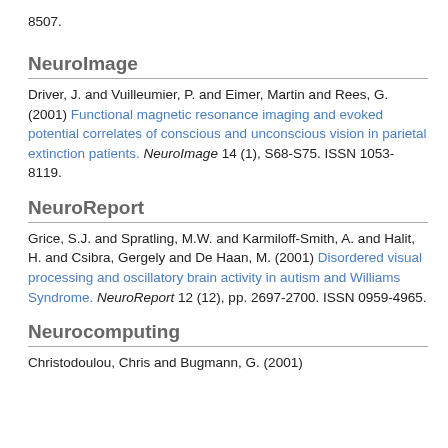8507.
NeuroImage
Driver, J. and Vuilleumier, P. and Eimer, Martin and Rees, G. (2001) Functional magnetic resonance imaging and evoked potential correlates of conscious and unconscious vision in parietal extinction patients. NeuroImage 14 (1), S68-S75. ISSN 1053-8119.
NeuroReport
Grice, S.J. and Spratling, M.W. and Karmiloff-Smith, A. and Halit, H. and Csibra, Gergely and De Haan, M. (2001) Disordered visual processing and oscillatory brain activity in autism and Williams Syndrome. NeuroReport 12 (12), pp. 2697-2700. ISSN 0959-4965.
Neurocomputing
Christodoulou, Chris and Bugmann, G. (2001)